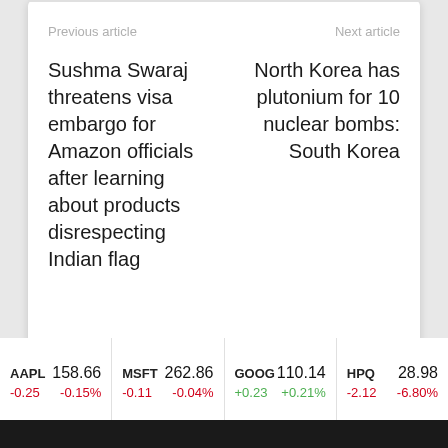Previous article
Next article
Sushma Swaraj threatens visa embargo for Amazon officials after learning about products disrespecting Indian flag
North Korea has plutonium for 10 nuclear bombs: South Korea
| Symbol | Price | Change | Change% |
| --- | --- | --- | --- |
| AAPL | 158.66 | -0.25 | -0.15% |
| MSFT | 262.86 | -0.11 | -0.04% |
| GOOG | 110.14 | +0.23 | +0.21% |
| HPQ | 28.98 | -2.12 | -6.80% |